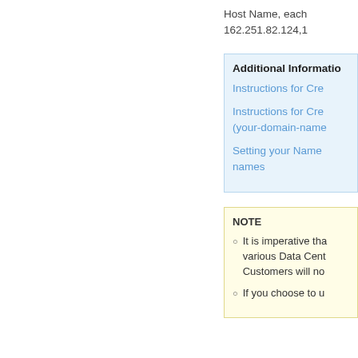Host Name, each
162.251.82.124,1
Additional Informatio
Instructions for Cre
Instructions for Cre (your-domain-name
Setting your Name names
NOTE
It is imperative tha various Data Cent Customers will no
If you choose to u